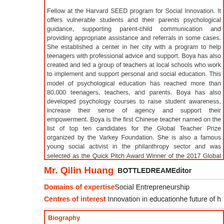Fellow at the Harvard SEED program for Social Innovation. ... offers vulnerable students and their parents psychological guidance, supporting parent-child communication and providing appropriate assistance and referrals in some cases. She established a center in her city with a program to help teenagers with professional advice and support. Boya has also created and led a group of teachers at local schools who work to implement and support personal and social education. This model of psychological education has reached more than 80,000 teenagers, teachers, and parents. Boya has also developed psychology courses to raise student awareness, increase their sense of agency and support their empowerment. Boya is the first Chinese teacher named on the list of top ten candidates for the Global Teacher Prize organized by the Varkey Foundation. She is also a famous young social activist in the philanthropy sector and was selected as the Quick Pitch Award Winner of the 2017 Global Social Venture Competition. Boya has also made speeches and given interviews on her work at national conferences and with local media outlets.
Mr. Qilin Huang BOTTLEDREAMEditor
Domains of expertise Social Entrepreneurship
Centres of interest Innovation in education he future of h…
Biography